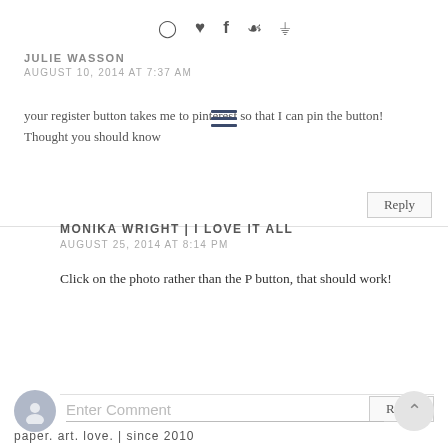[Figure (other): Social media icons: Instagram, heart, Facebook, Pinterest, shopping bag]
JULIE WASSON
AUGUST 10, 2014 AT 7:37 AM
[Figure (other): Hamburger menu icon (three horizontal lines)]
your register button takes me to pinterest so that I can pin the button! Thought you should know
Reply
MONIKA WRIGHT | I LOVE IT ALL
AUGUST 25, 2014 AT 8:14 PM
Click on the photo rather than the P button, that should work!
Reply
Enter Comment
paper. art. love. | since 2010